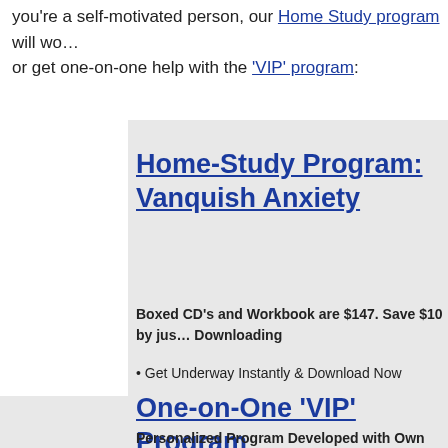you're a self-motivated person, our Home Study program will wo... or get one-on-one help with the 'VIP' program:
Home-Study Program: Vanquish Anxiety
Boxed CD's and Workbook are $147. Save $10 by just Downloading
• Get Underway Instantly & Download Now
• Work Privately on Your Own Time
One-on-One 'VIP' Program
Personalized Program Developed with Own Practitio...